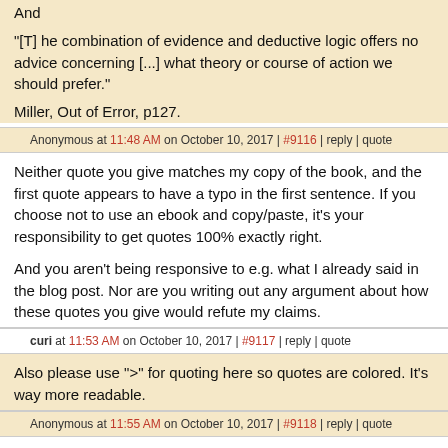And
"[T] he combination of evidence and deductive logic offers no advice concerning [...] what theory or course of action we should prefer."
Miller, Out of Error, p127.
Anonymous at 11:48 AM on October 10, 2017 | #9116 | reply | quote
Neither quote you give matches my copy of the book, and the first quote appears to have a typo in the first sentence. If you choose not to use an ebook and copy/paste, it's your responsibility to get quotes 100% exactly right.
And you aren't being responsive to e.g. what I already said in the blog post. Nor are you writing out any argument about how these quotes you give would refute my claims.
curi at 11:53 AM on October 10, 2017 | #9117 | reply | quote
Also please use ">" for quoting here so quotes are colored. It's way more readable.
Anonymous at 11:55 AM on October 10, 2017 | #9118 | reply | quote
Sorry, the quote in the above is wrong. Let me quote the last part